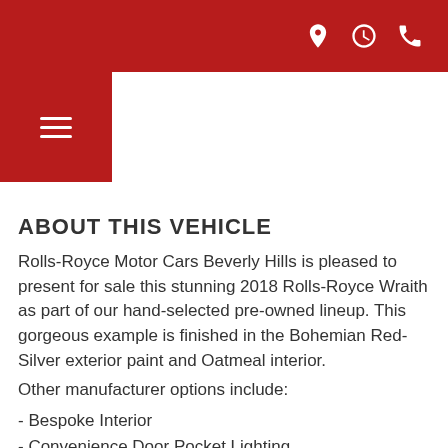[icons: location, clock, phone]
ABOUT THIS VEHICLE
Rolls-Royce Motor Cars Beverly Hills is pleased to present for sale this stunning 2018 Rolls-Royce Wraith as part of our hand-selected pre-owned lineup. This gorgeous example is finished in the Bohemian Red-Silver exterior paint and Oatmeal interior.
Other manufacturer options include:
- Bespoke Interior
- Convenience Door Pocket Lighting
- Walnut Burr
- Starlight Headliner
- Head-Up Display
- Lane Departure Warning